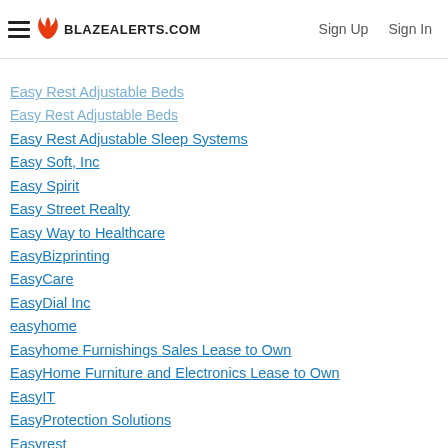BLAZEALERTS.COM | Sign Up | Sign In
Easy Rent Systems
Easy Rest Adjustable Beds
Easy Rest Adjustable Sleep Systems
Easy Soft, Inc
Easy Spirit
Easy Street Realty
Easy Way to Healthcare
EasyBizprinting
EasyCare
EasyDial Inc
easyhome
Easyhome Furnishings Sales Lease to Own
EasyHome Furniture and Electronics Lease to Own
EasyIT
EasyProtection Solutions
Easyrest
EasyTerritory.com
Easywater
EAT Club
Eat Inn
Eat N Park
Eat With Us Group